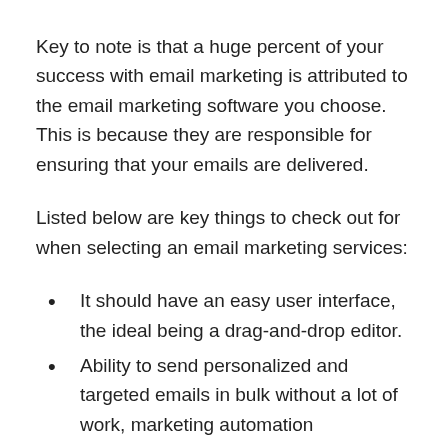Key to note is that a huge percent of your success with email marketing is attributed to the email marketing software you choose. This is because they are responsible for ensuring that your emails are delivered.
Listed below are key things to check out for when selecting an email marketing services:
It should have an easy user interface, the ideal being a drag-and-drop editor.
Ability to send personalized and targeted emails in bulk without a lot of work, marketing automation